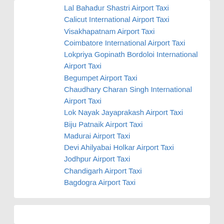Lal Bahadur Shastri Airport Taxi
Calicut International Airport Taxi
Visakhapatnam Airport Taxi
Coimbatore International Airport Taxi
Lokpriya Gopinath Bordoloi International Airport Taxi
Begumpet Airport Taxi
Chaudhary Charan Singh International Airport Taxi
Lok Nayak Jayaprakash Airport Taxi
Biju Patnaik Airport Taxi
Madurai Airport Taxi
Devi Ahilyabai Holkar Airport Taxi
Jodhpur Airport Taxi
Chandigarh Airport Taxi
Bagdogra Airport Taxi